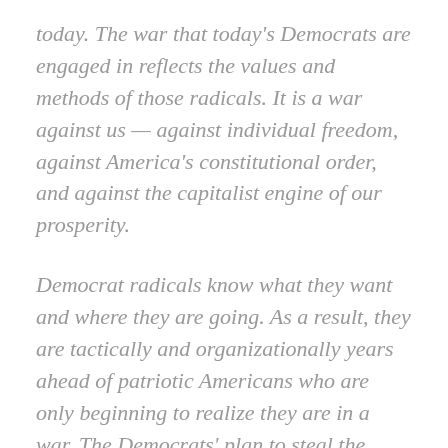today. The war that today's Democrats are engaged in reflects the values and methods of those radicals. It is a war against us — against individual freedom, against America's constitutional order, and against the capitalist engine of our prosperity.
Democrat radicals know what they want and where they are going. As a result, they are tactically and organizationally years ahead of patriotic Americans who are only beginning to realize they are in a war. The Democrats' plan to steal the 2020 election was hatched many years ago when Democrats launched their first attacks on Voter I.D.s, and then every